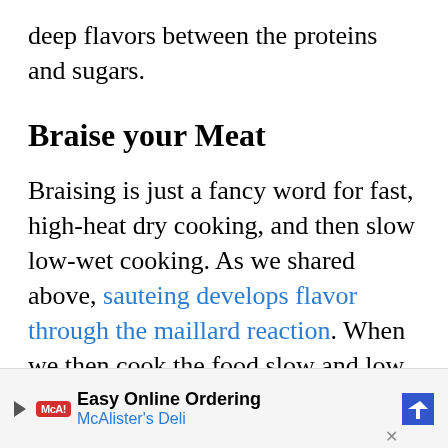deep flavors between the proteins and sugars.
Braise your Meat
Braising is just a fancy word for fast, high-heat dry cooking, and then slow low-wet cooking. As we shared above, sauteing develops flavor through the maillard reaction. When we then cook the food slow and low in a liquid, we allow those flavors to intermingle and mix, making it perfect for a sauce like
Easy Online Ordering
McAlister's Deli